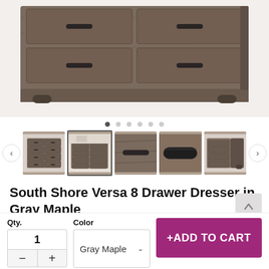[Figure (photo): Top portion of a South Shore Versa 8 Drawer Dresser in Gray Maple finish, showing the top two rows of drawers with dark bar handles against a white/gray background.]
[Figure (photo): Thumbnail strip showing 5 product images of the dresser from various angles and close-ups, with navigation arrows and dot indicators.]
South Shore Versa 8 Drawer Dresser in Gray Maple
item ID: 1654070
Qty.
1
- +
Color
Gray Maple
+ADD TO CART